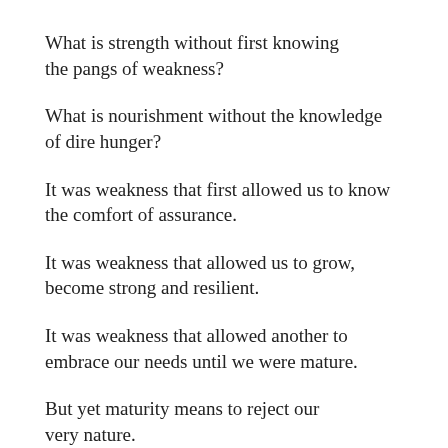What is strength without first knowing the pangs of weakness?
What is nourishment without the knowledge of dire hunger?
It was weakness that first allowed us to know the comfort of assurance.
It was weakness that allowed us to grow, become strong and resilient.
It was weakness that allowed another to embrace our needs until we were mature.
But yet maturity means to reject our very nature.
Maturity means living below our needs and…